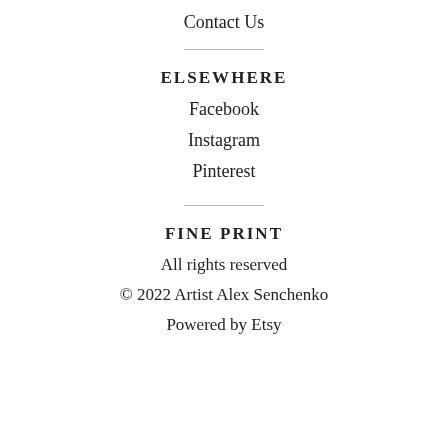Contact Us
ELSEWHERE
Facebook
Instagram
Pinterest
FINE PRINT
All rights reserved
© 2022 Artist Alex Senchenko
Powered by Etsy